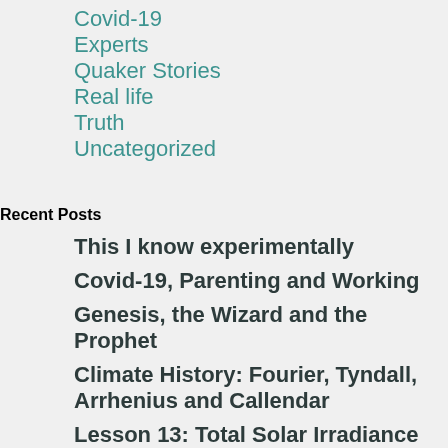Covid-19
Experts
Quaker Stories
Real life
Truth
Uncategorized
Recent Posts
This I know experimentally
Covid-19, Parenting and Working
Genesis, the Wizard and the Prophet
Climate History: Fourier, Tyndall, Arrhenius and Callendar
Lesson 13: Total Solar Irradiance
Recent Comments